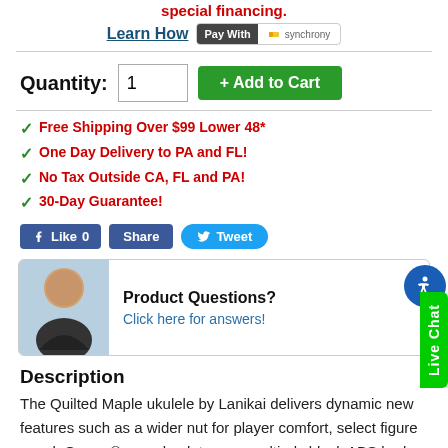special financing.
Learn How | Pay With synchrony
Quantity: 1 + Add to Cart
✓ Free Shipping Over $99 Lower 48*
✓ One Day Delivery to PA and FL!
✓ No Tax Outside CA, FL and PA!
✓ 30-Day Guarantee!
Like 0 Share Tweet
Product Questions? Click here for answers!
Description
The Quilted Maple ukulele by Lanikai delivers dynamic new features such as a wider nut for player comfort, select figure wood, Grover® open back tuners, multi-ply black ABS body binding, NuBone XB® nut and saddle, D'Addario® strings,